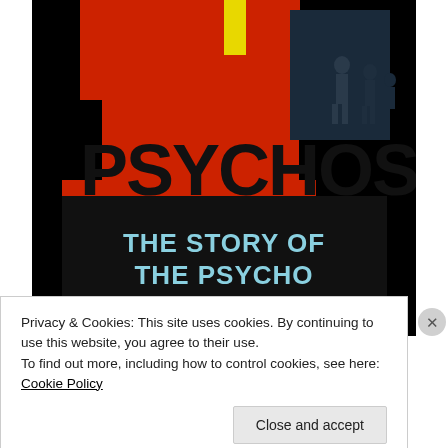[Figure (illustration): Book cover of 'Psychos: The Story of the Psycho Film Franchise'. Red and black cover with large stencil-style text 'PSYCHOS' on red background, silhouettes of figures in dark blue upper right, and subtitle 'THE STORY OF THE PSYCHO FILM FRANCHISE' in light blue on black lower portion.]
Privacy & Cookies: This site uses cookies. By continuing to use this website, you agree to their use.
To find out more, including how to control cookies, see here: Cookie Policy